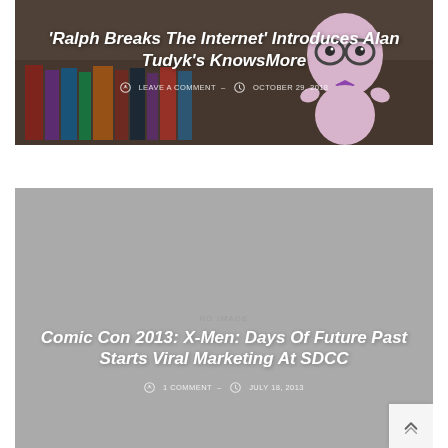[Figure (photo): Article card with animated character (KnowsMore from Ralph Breaks the Internet) against a warm brown library background, with overlaid title and metadata.]
'Ralph Breaks The Internet' Introduces Alan Tudyk's KnowsMore
LEAVE A COMMENT   -   OCTOBER 29, 2018
[Figure (photo): Article card with gray placeholder image background, overlaid title and metadata.]
Comic Con 2013: X-Men: Days Of Future Past Starts Viral Marketing At SDCC
1 COMMENT   -   JULY 18, 2013